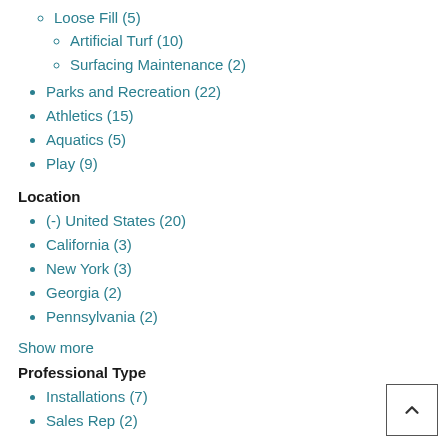Loose Fill (5)
Artificial Turf (10)
Surfacing Maintenance (2)
Parks and Recreation (22)
Athletics (15)
Aquatics (5)
Play (9)
Location
(-) United States (20)
California (3)
New York (3)
Georgia (2)
Pennsylvania (2)
Show more
Professional Type
Installations (7)
Sales Rep (2)